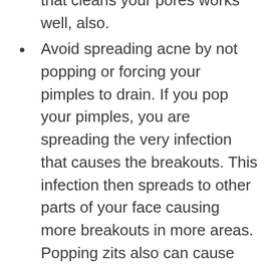that cleans your pores works well, also.
Avoid spreading acne by not popping or forcing your pimples to drain. If you pop your pimples, you are spreading the very infection that causes the breakouts. This infection then spreads to other parts of your face causing more breakouts in more areas. Popping zits also can cause unnecessary redness, swelling and permanent scarring, so it's best to leave them be and